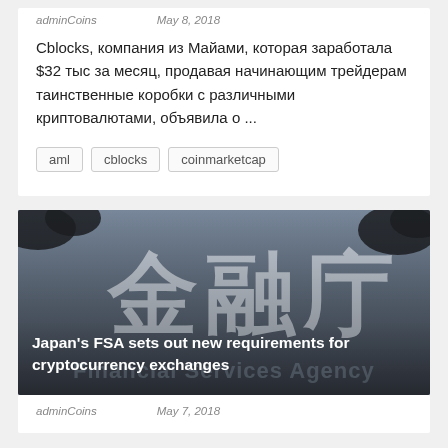adminCoins   May 8, 2018
Cblocks, компания из Майами, которая заработала $32 тыс за месяц, продавая начинающим трейдерам таинственные коробки с различными криптовалютами, объявила о ...
aml
cblocks
coinmarketcap
[Figure (photo): Sign reading 金融庁 (Financial Services Agency) in Japanese with overlay title: Japan's FSA sets out new requirements for cryptocurrency exchanges]
adminCoins   May 7, 2018